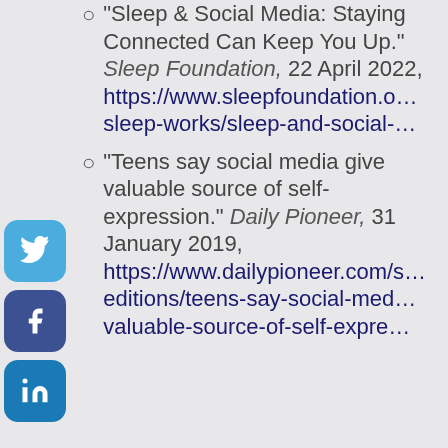"Sleep & Social Media: Staying Connected Can Keep You Up." Sleep Foundation, 22 April 2022, https://www.sleepfoundation.o… sleep-works/sleep-and-social-…
"Teens say social media give valuable source of self-expression." Daily Pioneer, 31 January 2019, https://www.dailypioneer.com/s… editions/teens-say-social-med… valuable-source-of-self-expre…